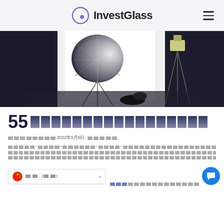InvestGlass
[Figure (photo): Photography studio scene with black umbrella softbox lights, bright white backdrop, and camera equipment on a dark floor]
55 [redacted title text]
[redacted] 2022年5月6日. [redacted].
[redacted body paragraph text with quoted terms]
[continuation of body text]